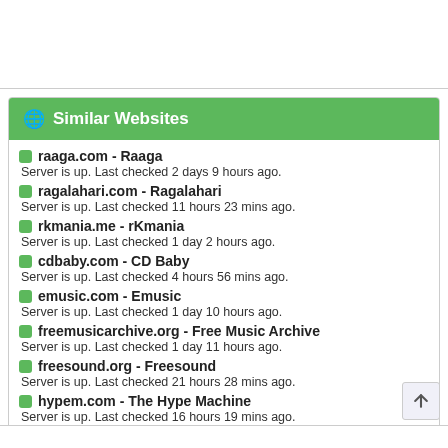🌐 Similar Websites
raaga.com - Raaga
Server is up. Last checked 2 days 9 hours ago.
ragalahari.com - Ragalahari
Server is up. Last checked 11 hours 23 mins ago.
rkmania.me - rKmania
Server is up. Last checked 1 day 2 hours ago.
cdbaby.com - CD Baby
Server is up. Last checked 4 hours 56 mins ago.
emusic.com - Emusic
Server is up. Last checked 1 day 10 hours ago.
freemusicarchive.org - Free Music Archive
Server is up. Last checked 1 day 11 hours ago.
freesound.org - Freesound
Server is up. Last checked 21 hours 28 mins ago.
hypem.com - The Hype Machine
Server is up. Last checked 16 hours 19 mins ago.